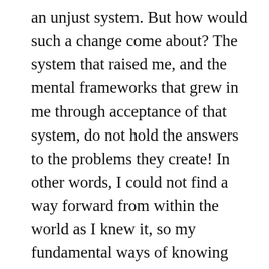an unjust system. But how would such a change come about? The system that raised me, and the mental frameworks that grew in me through acceptance of that system, do not hold the answers to the problems they create! In other words, I could not find a way forward from within the world as I knew it, so my fundamental ways of knowing the world needed to change. Who am I, and how can I live in harmony with the world, if all I know comes from a culture that is exploitative at its core? Those of us who have benefited from the exploitative normalcy of western civilization have a lot of work to do to shift our understanding of how the world works, and to abandon the structures that have benefited the